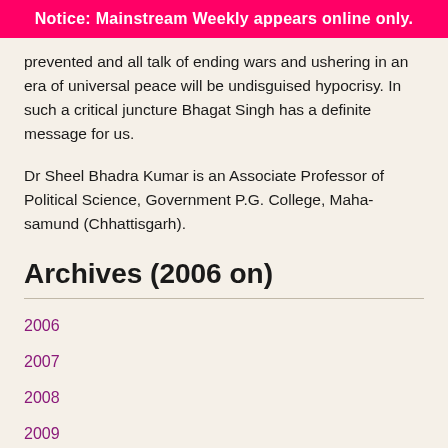Notice: Mainstream Weekly appears online only.
prevented and all talk of ending wars and ushering in an era of universal peace will be undisguised hypocrisy. In such a critical juncture Bhagat Singh has a definite message for us.
Dr Sheel Bhadra Kumar is an Associate Professor of Political Science, Government P.G. College, Maha-samund (Chhattisgarh).
Archives (2006 on)
2006
2007
2008
2009
2010